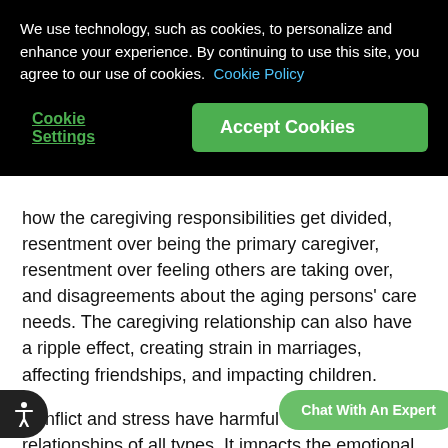We use technology, such as cookies, to personalize and enhance your experience. By continuing to use this site, you agree to our use of cookies. Cookie Policy
Cookie Settings | Accept Cookies
how the caregiving responsibilities get divided, resentment over being the primary caregiver, resentment over feeling others are taking over, and disagreements about the aging persons' care needs. The caregiving relationship can also have a ripple effect, creating strain in marriages, affecting friendships, and impacting children.
Conflict and stress have harmful effects on relationships of all types. It impacts the emotional well-being of the care recipient, exacerbates caregiver stress, and takes a toll on everyone involved. Understanding how conflict affects different relationships is a good start to preventing
Chat With An Expert